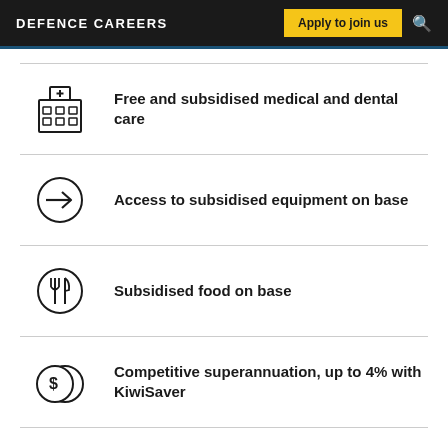DEFENCE CAREERS | Apply to join us
Free and subsidised medical and dental care
Access to subsidised equipment on base
Subsidised food on base
Competitive superannuation, up to 4% with KiwiSaver